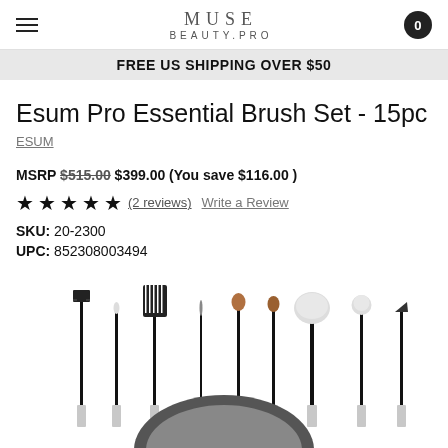MUSE BEAUTY.PRO
FREE US SHIPPING OVER $50
Esum Pro Essential Brush Set - 15pc
ESUM
MSRP $515.00 $399.00 (You save $116.00 )
★★★★★ (2 reviews)  Write a Review
SKU: 20-2300
UPC: 852308003494
[Figure (photo): Row of makeup brushes with black handles and silver ferrules, various tip shapes including flat, pointed, comb/spoolie, liner, shader, and fluffy powder brushes]